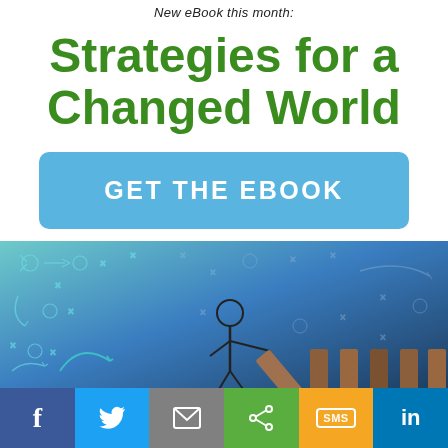New eBook this month:
Strategies for a Changed World
GET THE EBOOK
[Figure (illustration): Hero image showing a person pushing over a series of wooden dominoes against a blue background with strategy diagram overlays (arrows, circles, X marks)]
Social share bar with Facebook, Twitter, Email, Share, SMS, LinkedIn buttons